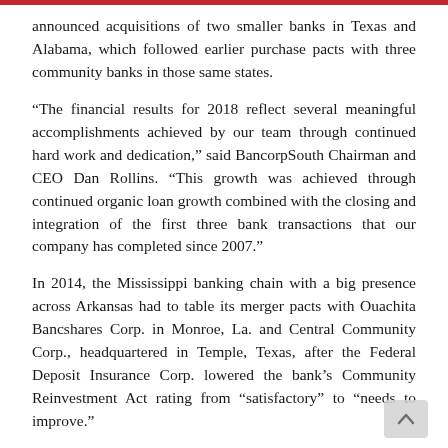announced acquisitions of two smaller banks in Texas and Alabama, which followed earlier purchase pacts with three community banks in those same states.
“The financial results for 2018 reflect several meaningful accomplishments achieved by our team through continued hard work and dedication,” said BancorpSouth Chairman and CEO Dan Rollins. “This growth was achieved through continued organic loan growth combined with the closing and integration of the first three bank transactions that our company has completed since 2007.”
In 2014, the Mississippi banking chain with a big presence across Arkansas had to table its merger pacts with Ouachita Bancshares Corp. in Monroe, La. and Central Community Corp., headquartered in Temple, Texas, after the Federal Deposit Insurance Corp. lowered the bank’s Community Reinvestment Act rating from “satisfactory” to “needs to improve.”
The FDIC downgrade occurred after the Consumer